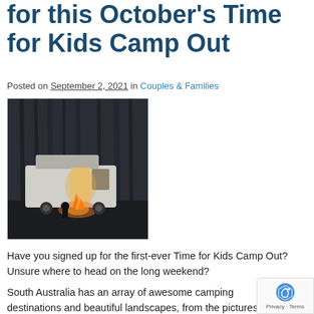for this October's Time for Kids Camp Out
Posted on September 2, 2021 in Couples & Families
[Figure (photo): A white campervan parked in a forest at dusk with a campfire lit in front, person sitting beside the fire, trees in the background.]
Have you signed up for the first-ever Time for Kids Camp Out? Unsure where to head on the long weekend?
South Australia has an array of awesome camping destinations and beautiful landscapes, from the picturesque Yorke Peninsula, to the sun-kissed Flinders Ranges. So, it's easy to see why it's hard to choose!